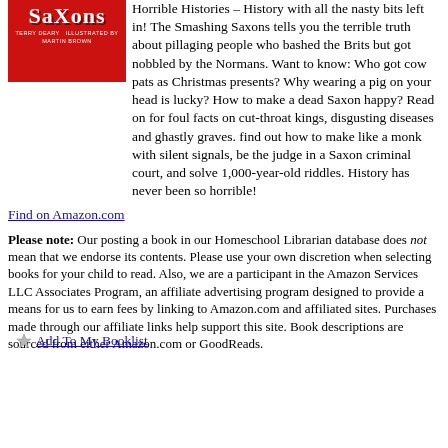[Figure (illustration): Book cover for 'Smashing Saxons' from the Horrible Histories series by Terry Deary, illustrated by Martin Brown. Red cover with white stylized text.]
Horrible Histories – History with all the nasty bits left in! The Smashing Saxons tells you the terrible truth about pillaging people who bashed the Brits but got nobbled by the Normans. Want to know: Who got cow pats as Christmas presents? Why wearing a pig on your head is lucky? How to make a dead Saxon happy? Read on for foul facts on cut-throat kings, disgusting diseases and ghastly graves. find out how to make like a monk with silent signals, be the judge in a Saxon criminal court, and solve 1,000-year-old riddles. History has never been so horrible!
Find on Amazon.com
Please note: Our posting a book in our Homeschool Librarian database does not mean that we endorse its contents. Please use your own discretion when selecting books for your child to read. Also, we are a participant in the Amazon Services LLC Associates Program, an affiliate advertising program designed to provide a means for us to earn fees by linking to Amazon.com and affiliated sites. Purchases made through our affiliate links help support this site. Book descriptions are sourced from either Amazon.com or GoodReads.
Add To My Booklist